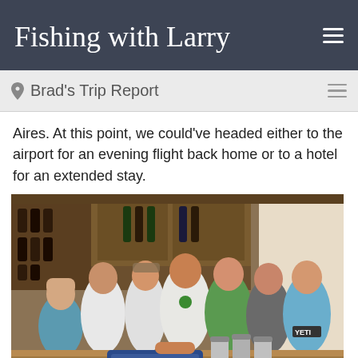Fishing with Larry
Brad's Trip Report
Aires. At this point, we could've headed either to the airport for an evening flight back home or to a hotel for an extended stay.
[Figure (photo): Group photo of approximately 8 people (men and women) posing together indoors, likely on a fishing boat or lodge. There is a wine rack visible in the background, bottles on shelves, and stainless steel thermoses on a wooden counter in the foreground. People are wearing casual clothes; one person wears a YETI t-shirt.]